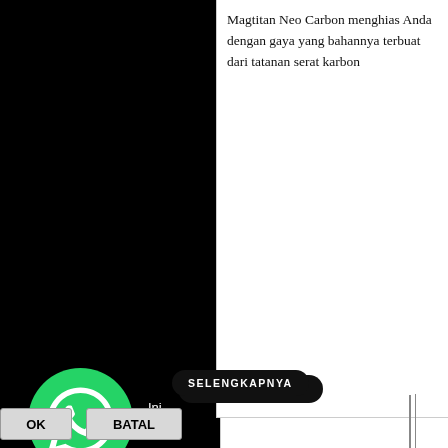Magtitan Neo Carbon menghias Anda dengan gaya yang bahannya terbuat dari tatanan serat karbon
SELENGKAPNYA
Colantotte™ Ind
Ofiicial Retailer of Col.
[Figure (logo): WhatsApp icon (green circle with white phone handset) - small, top right]
[Figure (logo): WhatsApp icon (green circle with white phone handset) - large, bottom left]
Ini
OK
BATAL